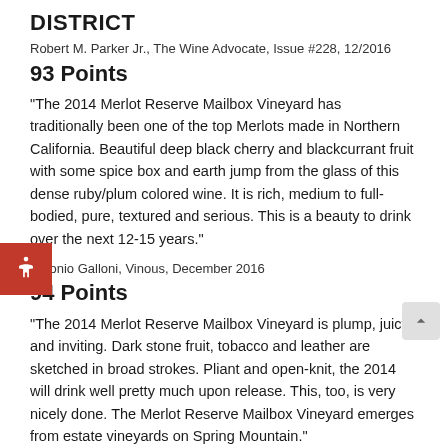DISTRICT
Robert M. Parker Jr., The Wine Advocate, Issue #228, 12/2016
93 Points
“The 2014 Merlot Reserve Mailbox Vineyard has traditionally been one of the top Merlots made in Northern California. Beautiful deep black cherry and blackcurrant fruit with some spice box and earth jump from the glass of this dense ruby/plum colored wine. It is rich, medium to full-bodied, pure, textured and serious. This is a beauty to drink over the next 12-15 years.”
Antonio Galloni, Vinous, December 2016
94 Points
“The 2014 Merlot Reserve Mailbox Vineyard is plump, juicy and inviting. Dark stone fruit, tobacco and leather are sketched in broad strokes. Pliant and open-knit, the 2014 will drink well pretty much upon release. This, too, is very nicely done. The Merlot Reserve Mailbox Vineyard emerges from estate vineyards on Spring Mountain.”